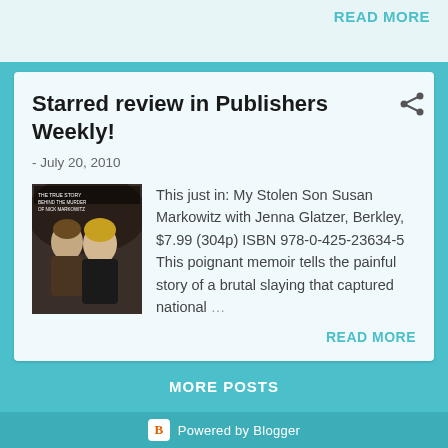READ MORE
Starred review in Publishers Weekly!
- July 20, 2010
[Figure (photo): Photo of a young man and a woman, likely a mother and son, used as book cover image for 'My Stolen Son']
This just in: My Stolen Son Susan Markowitz with Jenna Glatzer, Berkley, $7.99 (304p) ISBN 978-0-425-23634-5 This poignant memoir tells the painful story of a brutal slaying that captured national ...
READ MORE
MORE POSTS
Powered by Blogger